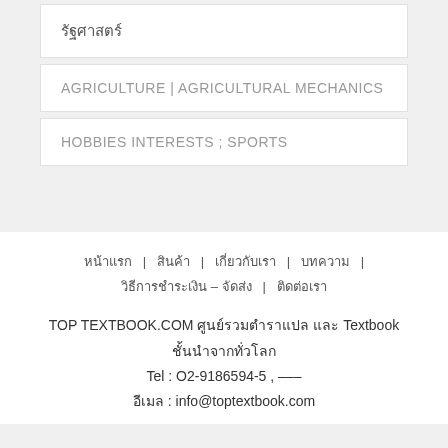รัฐศาสตร์
AGRICULTURE | AGRICULTURAL MECHANICS
HOBBIES INTERESTS ; SPORTS
หน้าแรก | สินค้า | เกี่ยวกับเรา | บทความ | วิธีการชำระเงิน – จัดส่ง | ติดต่อเรา
TOP TEXTBOOK.COM ศูนย์รวมตำราแปล และ Textbook ชั้นนำจากทั่วโลก
Tel : O2-9186594-5 , –––
อีเมล : info@toptextbook.com